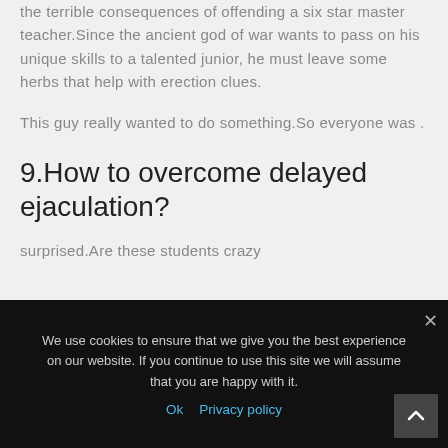the terrible consequences of offending a six star master teacher.Since the ancient god of war wants to pass on his unique skills to a talented junior, he must leave some herbs that help with erection clues.
This guy really wanted to do something.So everyone was .
9.How to overcome delayed ejaculation?
surprised.Are these students crazy
We use cookies to ensure that we give you the best experience on our website. If you continue to use this site we will assume that you are happy with it.
Ok   Privacy policy